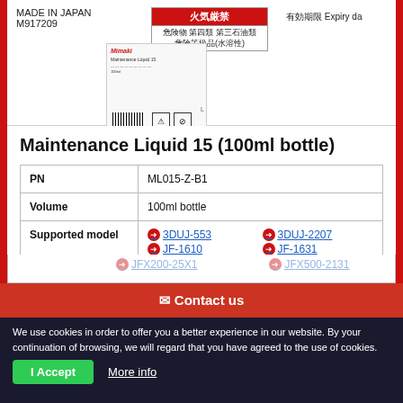MADE IN JAPAN
M917209
火気厳禁
危険物 第四類 第三石油類
危険等級品(水溶性)
有効期限 Expiry da
[Figure (photo): Product label thumbnail for Maintenance Liquid 15 showing brand logo, content details, barcode, warning icons, and red bottom strip]
Maintenance Liquid 15 (100ml bottle)
|  |  |
| --- | --- |
| PN | ML015-Z-B1 |
| Volume | 100ml bottle |
| Supported model | 3DUJ-553, JF-1610, JFX-1615plus, JFX200-2513, JFX200-25X1 | 3DUJ-2207, JF-1631, JFX-1631plus, JFX200-2513 EX, JFX500-2131 |
Contact us
We use cookies in order to offer you a better experience in our website. By your continuation of browsing, we will regard that you have agreed to the use of cookies.
I Accept
More info